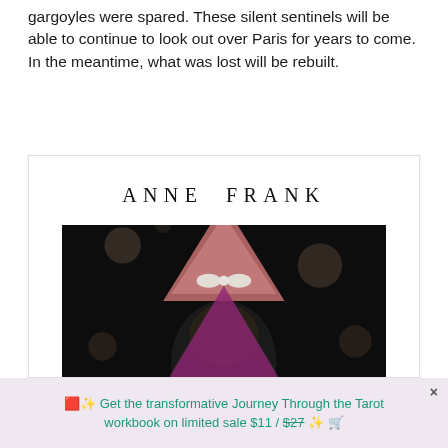gargoyles were spared. These silent sentinels will be able to continue to look out over Paris for years to come. In the meantime, what was lost will be rebuilt.
[Figure (illustration): Book cover for Anne Frank, showing the name 'ANNE FRANK' in spaced serif letters at the top, and below a dark photographic image with a pink/rose-colored pyramid shape and a partial portrait of a girl's face with a bow, surrounded by small circular bokeh elements.]
🟥✨ Get the transformative Journey Through the Tarot workbook on limited sale $11 / $27 ✨ 🛒